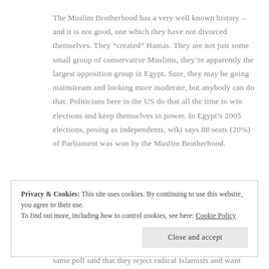The Muslim Brotherhood has a very well known history – and it is not good, one which they have not divorced themselves. They “created” Hamas. They are not just some small group of conservative Muslims, they’re apparently the largest opposition group in Egypt. Sure, they may be going mainstream and looking more moderate, but anybody can do that. Politicians here in the US do that all the time to win elections and keep themselves in power. In Egypt’s 2005 elections, posing as independents, wiki says 88 seats (20%) of Parliament was won by the Muslim Brotherhood.
Privacy & Cookies: This site uses cookies. By continuing to use this website, you agree to their use.
To find out more, including how to control cookies, see here: Cookie Policy
same poll said that they reject radical Islamists and want